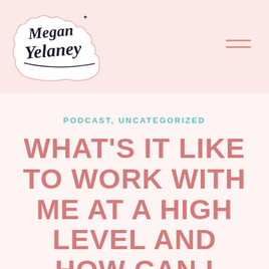[Figure (logo): Megan Yelaney handwritten script logo in dark navy/black brush lettering with decorative flourishes and a small star accent]
PODCAST, UNCATEGORIZED
WHAT'S IT LIKE TO WORK WITH ME AT A HIGH LEVEL AND HOW CAN I HELP YOU CREATE A